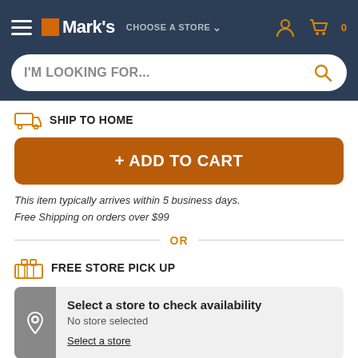Mark's — CHOOSE A STORE — Cart 0
I'M LOOKING FOR...
SHIP TO HOME
+ ADD TO CART
This item typically arrives within 5 business days.
Free Shipping on orders over $99
OR
FREE STORE PICK UP
Select a store to check availability
No store selected
Select a store
+ PICK IT UP